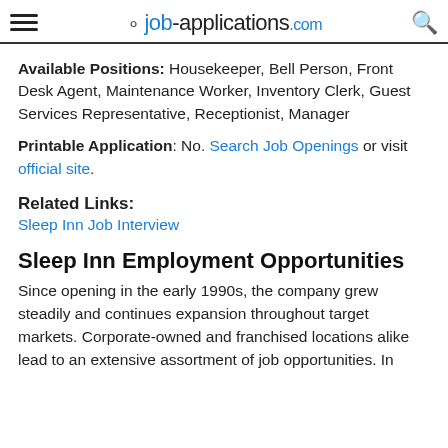job-applications.com
Available Positions: Housekeeper, Bell Person, Front Desk Agent, Maintenance Worker, Inventory Clerk, Guest Services Representative, Receptionist, Manager
Printable Application: No. Search Job Openings or visit official site.
Related Links:
Sleep Inn Job Interview
Sleep Inn Employment Opportunities
Since opening in the early 1990s, the company grew steadily and continues expansion throughout target markets. Corporate-owned and franchised locations alike lead to an extensive assortment of job opportunities. In